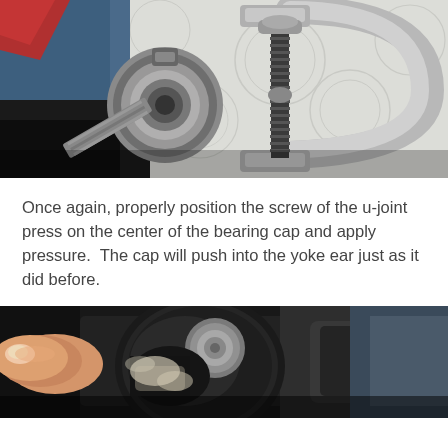[Figure (photo): Close-up photograph of a C-clamp u-joint press tool positioned on a bearing cap, showing the threaded screw mechanism pressing on a metal bearing assembly. A blue cloth/rag and red fabric visible in the background.]
Once again, properly position the screw of the u-joint press on the center of the bearing cap and apply pressure.  The cap will push into the yoke ear just as it did before.
[Figure (photo): Close-up photograph of a hand holding or pressing near a bearing cap being installed into a yoke ear, showing the metal components in close detail with a dark mechanical background.]